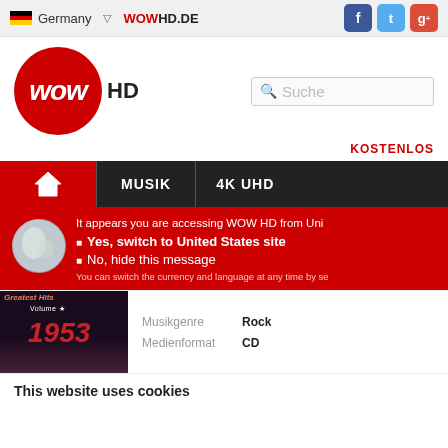Germany  ▽  WOWHD.DE  [Facebook] [Twitter] [Google+]
[Figure (logo): WOW HD logo - red circle with WOW text and HD label]
Suche
KOSTENLOS
[Figure (screenshot): Navigation bar with home icon, MUSIK, 4K UHD tabs]
It appears you are accessing WOW HD from Uni...
Yes, switch to United States site
No, hide this message
You can switch the currency and language at any time by se...
| Musikgenre | Rock |
| Medienformat | CD |
This website uses cookies